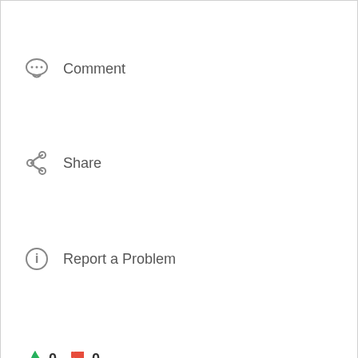Comment
Share
Report a Problem
👍 0  👎 0
[Figure (logo): PetSmart logo with red and blue lettering and a blue arc above, with a red oval dot above the S]